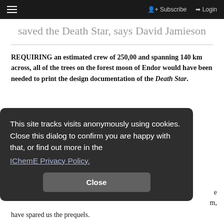Subscribe  Login
saved the Death Star, says David Jamieson
REQUIRING an estimated crew of 250,00 and spanning 140 km across, all of the trees on the forest moon of Endor would have been needed to print the design documentation of the Death Star.
This site tracks visits anonymously using cookies. Close this dialog to confirm you are happy with that, or find out more in the IChemE Privacy Policy.
have spared us the prequels.